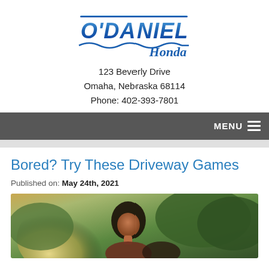[Figure (logo): O'Daniel Honda dealership logo in blue italic lettering with Honda in serif font and decorative wave underline]
123 Beverly Drive
Omaha, Nebraska 68114
Phone: 402-393-7801
MENU
Bored? Try These Driveway Games
Published on: May 24th, 2021
[Figure (photo): Photo of people outdoors, likely a woman with curly hair in a sunny outdoor setting with green trees in background]